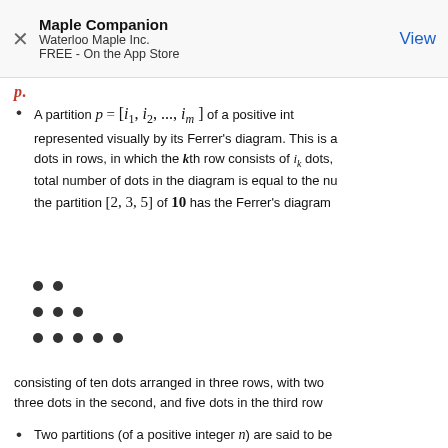Maple Companion
Waterloo Maple Inc.
FREE - On the App Store
View
p.
A partition p = [i_1, i_2, ..., i_m] of a positive int represented visually by its Ferrer's diagram. This is a dots in rows, in which the kth row consists of i_k dots, total number of dots in the diagram is equal to the nu the partition [2, 3, 5] of 10 has the Ferrer's diagram
[Figure (illustration): Ferrer's diagram: three rows of dots. Row 1: 2 dots, Row 2: 3 dots, Row 3: 5 dots.]
consisting of ten dots arranged in three rows, with two three dots in the second, and five dots in the third row
Two partitions (of a positive integer n) are said to be Ferrer's diagrams are conjugate, which means that on